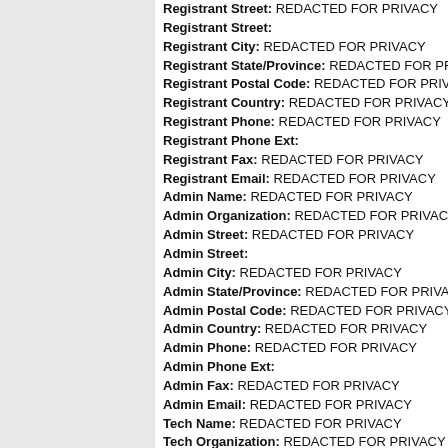Registrant Street: REDACTED FOR PRIVACY
Registrant Street:
Registrant City: REDACTED FOR PRIVACY
Registrant State/Province: REDACTED FOR PRIVACY
Registrant Postal Code: REDACTED FOR PRIVACY
Registrant Country: REDACTED FOR PRIVACY
Registrant Phone: REDACTED FOR PRIVACY
Registrant Phone Ext:
Registrant Fax: REDACTED FOR PRIVACY
Registrant Email: REDACTED FOR PRIVACY
Admin Name: REDACTED FOR PRIVACY
Admin Organization: REDACTED FOR PRIVACY
Admin Street: REDACTED FOR PRIVACY
Admin Street:
Admin City: REDACTED FOR PRIVACY
Admin State/Province: REDACTED FOR PRIVACY
Admin Postal Code: REDACTED FOR PRIVACY
Admin Country: REDACTED FOR PRIVACY
Admin Phone: REDACTED FOR PRIVACY
Admin Phone Ext:
Admin Fax: REDACTED FOR PRIVACY
Admin Email: REDACTED FOR PRIVACY
Tech Name: REDACTED FOR PRIVACY
Tech Organization: REDACTED FOR PRIVACY
Tech Street: REDACTED FOR PRIVACY
Tech Street:
Tech City: REDACTED FOR PRIVACY
Tech State/Province: REDACTED FOR PRIVACY
Tech Postal Code: REDACTED FOR PRIVACY
Tech Country: REDACTED FOR PRIVACY
Tech Phone: REDACTED FOR PRIVACY
Tech Phone Ext:
Tech Fax: REDACTED FOR PRIVACY
Tech Email: REDACTED FOR PRIVACY
Name Server: DNS1.NAME-SERVICES.COM
NY
14606